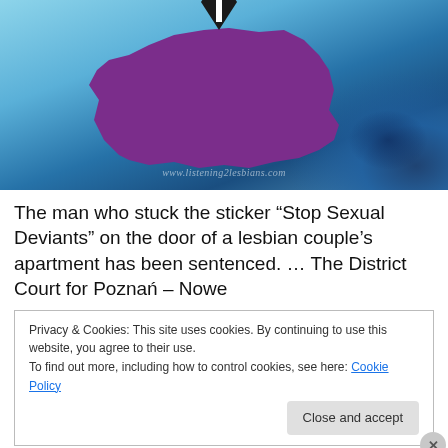[Figure (illustration): Illustration of the map of Poland in purple with a white cross/anchor symbol on a blue watercolor background. Watermark text: www.listening2lesbians.com]
The man who stuck the sticker “Stop Sexual Deviants” on the door of a lesbian couple’s apartment has been sentenced. … The District Court for Poznań – Nowe
Privacy & Cookies: This site uses cookies. By continuing to use this website, you agree to their use.
To find out more, including how to control cookies, see here: Cookie Policy
Close and accept
Advertisements